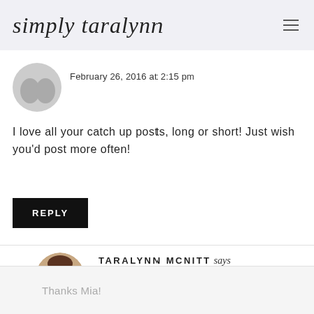simply taralynn
February 26, 2016 at 2:15 pm
I love all your catch up posts, long or short! Just wish you'd post more often!
REPLY
TARALYNN MCNITT says
February 26, 2016 at 2:31 pm
Thanks Mia!